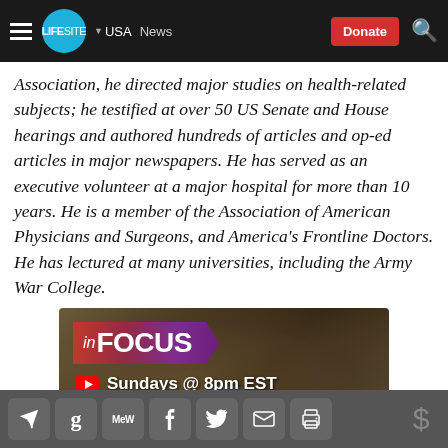[Figure (screenshot): LifeSite News navigation bar with hamburger menu, logo, USA dropdown, News link, Donate button, and search icon]
Association, he directed major studies on health-related subjects; he testified at over 50 US Senate and House hearings and authored hundreds of articles and op-ed articles in major newspapers. He has served as an executive volunteer at a major hospital for more than 10 years. He is a member of the Association of American Physicians and Surgeons, and America's Frontline Doctors. He has lectured at many universities, including the Army War College.
[Figure (screenshot): In Focus promotional banner showing 'inFOCUS' logo in red/purple ribbon over a world map background, with YouTube icon and text 'Sundays @ 8pm EST']
[Figure (screenshot): Social media share bar with icons for Telegram, Gab, MeWe, Facebook, Twitter, Email, Print, and a dollar sign donation button]